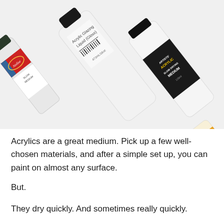[Figure (photo): Overhead photo of several acrylic painting medium bottles arranged diagonally on a white surface. Visible bottles include an Atelier Slow Medium bottle, an Acrylic Glazing Liquid (Gloss) tube, an Artists' Acrylic Slow Drying Medium bottle, and a small dark dropper bottle.]
Acrylics are a great medium. Pick up a few well-chosen materials, and after a simple set up, you can paint on almost any surface.
But.
They dry quickly. And sometimes really quickly.